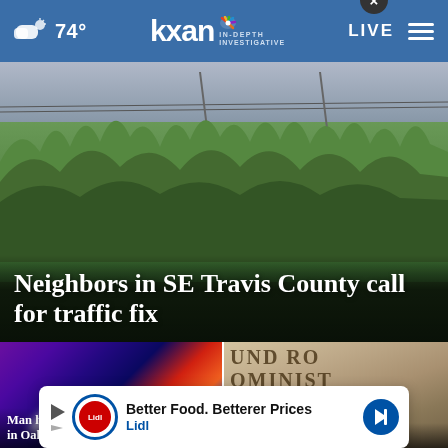74° kxan IN-DEPTH INVESTIGATIVE LIVE
[Figure (photo): Outdoor scene with trees and power lines, used as hero image for news story about SE Travis County traffic]
Neighbors in SE Travis County call for traffic fix
[Figure (photo): Blurred police lights in red, blue and yellow]
Man hospitalized after being hit by car in Oak
[Figure (photo): Stone building with partial text reading ROUND ROCK ADMINIST BUILDING]
Round Rock ISD to census 2
Better Food. Betterer Prices Lidl